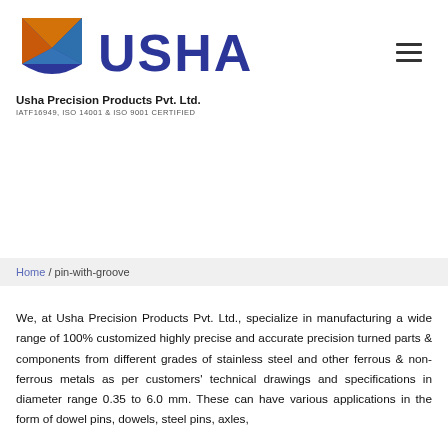[Figure (logo): Usha Precision Products logo: shield shape with orange and blue triangular design, with 'USHA' text in large dark blue bold letters beside it]
Usha Precision Products Pvt. Ltd.
IATF16949, ISO 14001 & ISO 9001 CERTIFIED
Home / pin-with-groove
We, at Usha Precision Products Pvt. Ltd., specialize in manufacturing a wide range of 100% customized highly precise and accurate precision turned parts & components from different grades of stainless steel and other ferrous & non-ferrous metals as per customers' technical drawings and specifications in diameter range 0.35 to 6.0 mm. These can have various applications in the form of dowel pins, dowels, steel pins, axles,